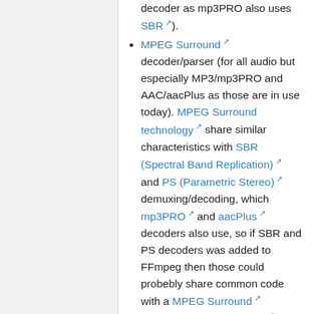decoder as mp3PRO also uses SBR).
MPEG Surround decoder/parser (for all audio but especially MP3/mp3PRO and AAC/aacPlus as those are in use today). MPEG Surround technology share similar characteristics with SBR (Spectral Band Replication) and PS (Parametric Stereo) demuxing/decoding, which mp3PRO and aacPlus decoders also use, so if SBR and PS decoders was added to FFmpeg then those could probebly share common code with a MPEG Surround decoder/parser. (DivX Inc. is one company that uses MPEG Surround technology to achieve 5.1 channel surround sound in smaller files).